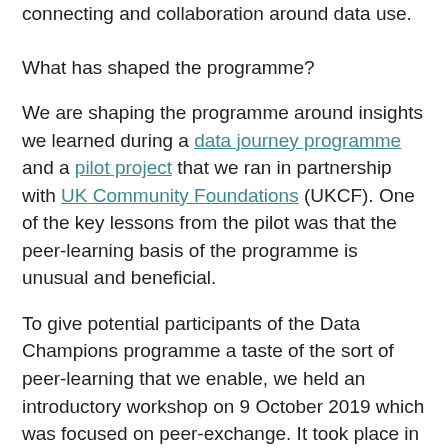connecting and collaboration around data use.
What has shaped the programme?
We are shaping the programme around insights we learned during a data journey programme and a pilot project that we ran in partnership with UK Community Foundations (UKCF). One of the key lessons from the pilot was that the peer-learning basis of the programme is unusual and beneficial.
To give potential participants of the Data Champions programme a taste of the sort of peer-learning that we enable, we held an introductory workshop on 9 October 2019 which was focused on peer-exchange. It took place in London and we had nearly 40 people